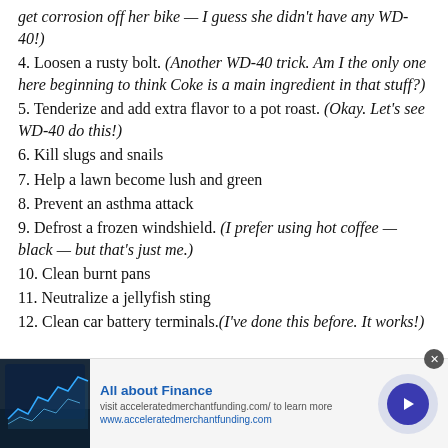get corrosion off her bike — I guess she didn't have any WD-40!)
4. Loosen a rusty bolt. (Another WD-40 trick. Am I the only one here beginning to think Coke is a main ingredient in that stuff?)
5. Tenderize and add extra flavor to a pot roast. (Okay. Let's see WD-40 do this!)
6. Kill slugs and snails
7. Help a lawn become lush and green
8. Prevent an asthma attack
9. Defrost a frozen windshield. (I prefer using hot coffee — black — but that's just me.)
10. Clean burnt pans
11. Neutralize a jellyfish sting
12. Clean car battery terminals.(I've done this before. It works!)
[Figure (infographic): Advertisement banner: All about Finance. Visit acceleratedmerchantfunding.com/ to learn more. www.acceleratedmerchantfunding.com. Image of stock chart on screen on left, arrow button on right.]